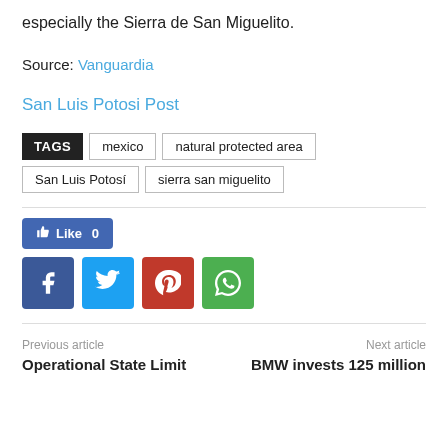especially the Sierra de San Miguelito.
Source: Vanguardia
San Luis Potosi Post
TAGS: mexico | natural protected area | San Luis Potosí | sierra san miguelito
[Figure (other): Social share buttons: Like 0 (Facebook), Facebook, Twitter, Pinterest, WhatsApp]
Previous article: Operational State Limit
Next article: BMW invests 125 million